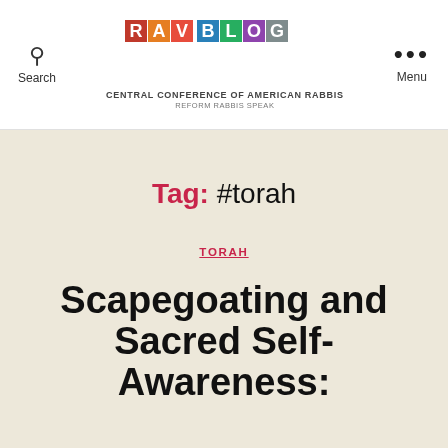[Figure (logo): RAV BLOG colorful mosaic logo with letter tiles in multicolor squares]
CENTRAL CONFERENCE OF AMERICAN RABBIS
REFORM RABBIS SPEAK
Tag: #torah
TORAH
Scapegoating and Sacred Self-Awareness: